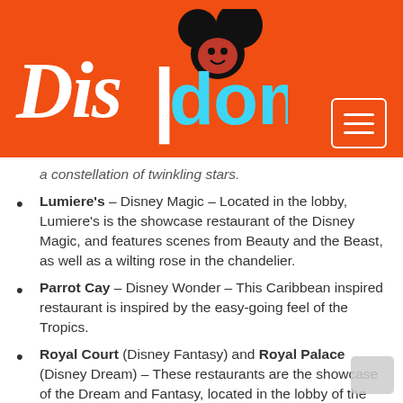[Figure (logo): Dis/dom website logo on orange background with Mickey Mouse ears icon]
a constellation of twinkling stars.
Lumiere's – Disney Magic – Located in the lobby, Lumiere's is the showcase restaurant of the Disney Magic, and features scenes from Beauty and the Beast, as well as a wilting rose in the chandelier.
Parrot Cay – Disney Wonder – This Caribbean inspired restaurant is inspired by the easy-going feel of the Tropics.
Royal Court (Disney Fantasy) and Royal Palace (Disney Dream) – These restaurants are the showcase of the Dream and Fantasy, located in the lobby of the ship. Both are elegant